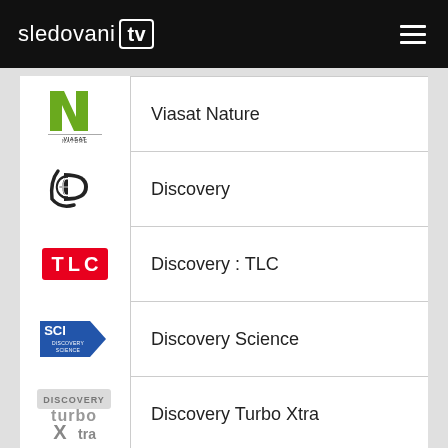sledovani tv
Viasat Nature
Discovery
Discovery : TLC
Discovery Science
Discovery Turbo Xtra